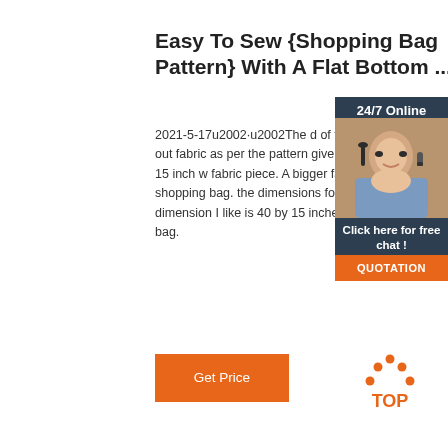Easy To Sew {Shopping Bag Pattern} With A Flat Bottom ...
2021-5-17u2002·u2002The d of the Shopping bag. Cut out fabric as per the pattern give ie. 32 inch long and 15 inch w fabric piece. A bigger fabric p yield a bigger shopping bag. the dimensions for a bigger b Another dimension I like is 40 by 15 inches – this makes an long bag.
[Figure (infographic): 24/7 Online chat box with agent photo and QUOTATION button]
Get Price
[Figure (logo): TOP logo with orange dots triangle above text]